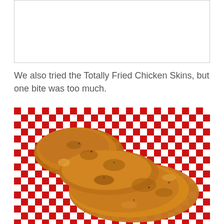[Figure (photo): Blank white image placeholder with light gray border at top of page]
We also tried the Totally Fried Chicken Skins, but one bite was too much.
[Figure (photo): Photo of fried chicken skins served in a red and white checkered paper basket/liner. The chicken pieces are golden-brown and crispy, piled on top of each other.]